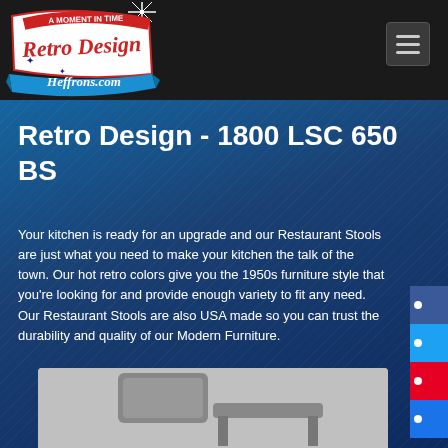[Figure (logo): Retro Design Heffrons.com logo - red and white retro sign shape with starburst, blue ribbon at bottom, text 'A MOMENT IN TIME', 'Retro Design', 'Heffrons.com']
Retro Design - 1800 LSC 650 BS
Your kitchen is ready for an upgrade and our Restaurant Stools are just what you need to make your kitchen the talk of the town. Our hot retro colors give you the 1950s furniture style that you're looking for and provide enough variety to fit any need. Our Restaurant Stools are also USA made so you can trust the durability and quality of our Modern Furniture.
[Figure (photo): Bottom portion of a restaurant bar stool shown in grey/silver color, partially visible at the bottom of the page]